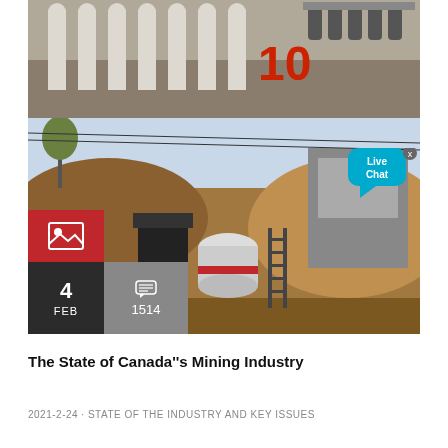[Figure (photo): Mining equipment with white frames and rollers on a factory or site setting]
[Figure (photo): Outdoor mining site with excavation equipment, cone crusher, and earthen mounds. A Live Chat widget is overlaid in the top right corner.]
The State of Canada''s Mining Industry
2021-2-24 · STATE OF THE INDUSTRY AND KEY ISSUES